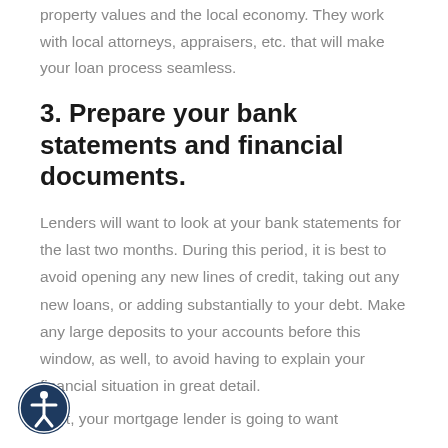property values and the local economy. They work with local attorneys, appraisers, etc. that will make your loan process seamless.
3. Prepare your bank statements and financial documents.
Lenders will want to look at your bank statements for the last two months. During this period, it is best to avoid opening any new lines of credit, taking out any new loans, or adding substantially to your debt. Make any large deposits to your accounts before this window, as well, to avoid having to explain your financial situation in great detail.
First, your mortgage lender is going to want